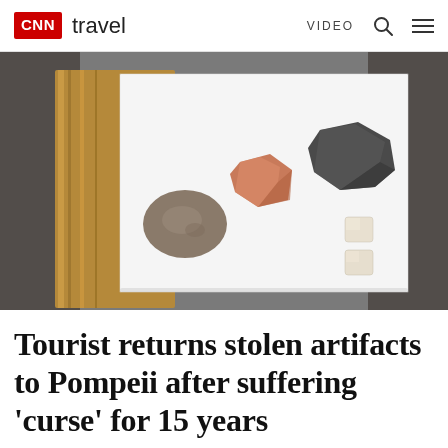CNN travel  VIDEO
[Figure (photo): Five stones and small tile fragments laid out on a white sheet of paper on a wooden surface. Items include a reddish-orange rock, a large dark grey irregular stone, a rounded brownish-grey pebble, and two small square white tile pieces.]
Tourist returns stolen artifacts to Pompeii after suffering 'curse' for 15 years